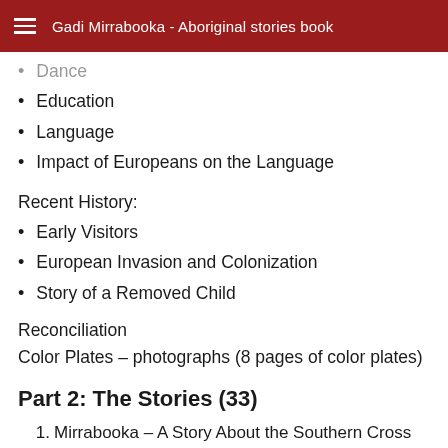Gadi Mirrabooka - Aboriginal stories book
Dance
Education
Language
Impact of Europeans on the Language
Recent History:
Early Visitors
European Invasion and Colonization
Story of a Removed Child
Reconciliation
Color Plates – photographs (8 pages of color plates)
Part 2: The Stories (33)
1. Mirrabooka – A Story About the Southern Cross
2. The Beginning Island – a Creation story from the Island of Tasmania. (Pauline E. McLeod)
3. Lumerri the Mother Snake – a Rainbow Serpent